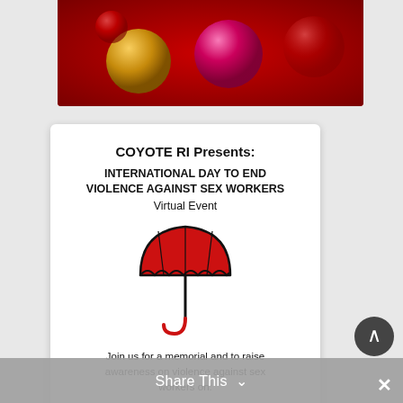[Figure (illustration): Red background decorative banner with gold, pink/red, and transparent ornament balls on a deep red gradient background]
COYOTE RI Presents:
INTERNATIONAL DAY TO END VIOLENCE AGAINST SEX WORKERS
Virtual Event
[Figure (illustration): Red umbrella icon representing sex worker rights movement]
Join us for a memorial and to raise awareness on violence against sex workers on:
December 17, 2021
7pm-10pm EST
@
https://tinyurl.com/bsdufym6
Share This